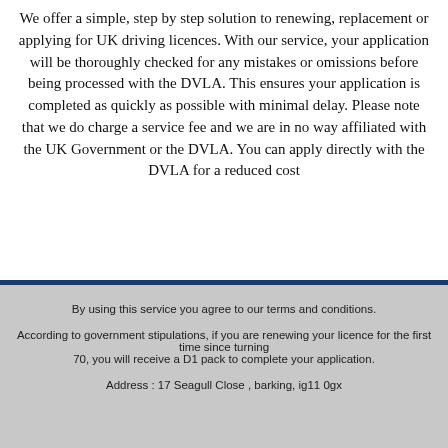We offer a simple, step by step solution to renewing, replacement or applying for UK driving licences. With our service, your application will be thoroughly checked for any mistakes or omissions before being processed with the DVLA. This ensures your application is completed as quickly as possible with minimal delay. Please note that we do charge a service fee and we are in no way affiliated with the UK Government or the DVLA. You can apply directly with the DVLA for a reduced cost
By using this service you agree to our terms and conditions.
According to government stipulations, if you are renewing your licence for the first time since turning 70, you will receive a D1 pack to complete your application.
Address : 17 Seagull Close , barking, ig11 0gx